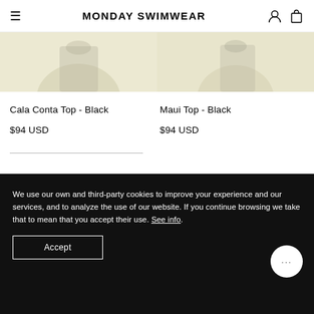MONDAY SWIMWEAR
[Figure (photo): Product images of swimwear tops in black on light yellow/cream background, two items side by side]
Cala Conta Top - Black
$94 USD
Maui Top - Black
$94 USD
We use our own and third-party cookies to improve your experience and our services, and to analyze the use of our website. If you continue browsing we take that to mean that you accept their use. See info.
Accept